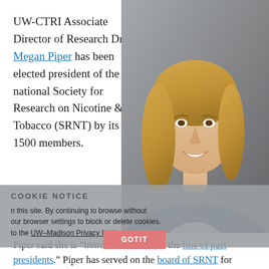UW-CTRI Associate Director of Research Dr. Megan Piper has been elected president of the national Society for Research on Nicotine & Tobacco (SRNT) by its 1500 members.
[Figure (photo): Professional headshot of Dr. Megan Piper, a woman with shoulder-length blonde hair wearing a blue cardigan over a light gray top, smiling, against a gray background.]
COOKIE NOTICE ... on this site. By continuing to browse without ... your browser settings to block or delete cookies. ... to the UW–Madison Privacy Notice.
Piper said she is "honored to follow in the line of past presidents." Piper has served on the board of SRNT for